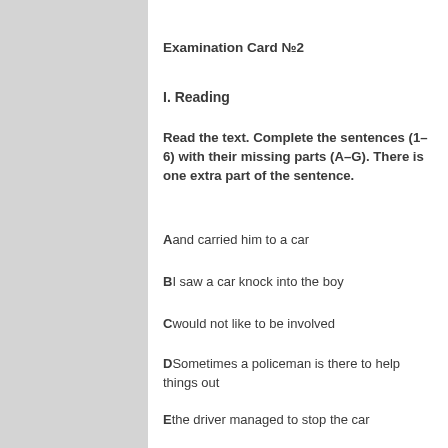Examination Card №2
I. Reading
Read the text. Complete the sentences (1–6) with their missing parts (A–G). There is one extra part of the sentence.
A and carried him to a car
B I saw a car knock into the boy
C would not like to be involved
D Sometimes a policeman is there to help things out
E the driver managed to stop the car